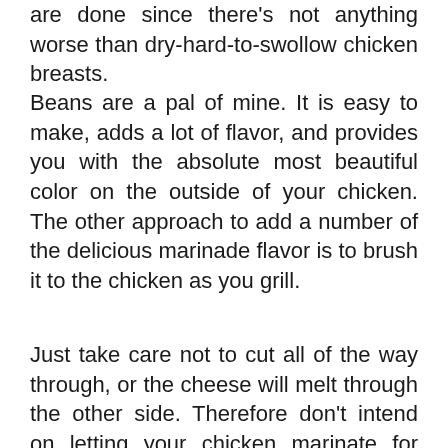are done since there's not anything worse than dry-hard-to-swollow chicken breasts.
Beans are a pal of mine. It is easy to make, adds a lot of flavor, and provides you with the absolute most beautiful color on the outside of your chicken. The other approach to add a number of the delicious marinade flavor is to brush it to the chicken as you grill.
Just take care not to cut all of the way through, or the cheese will melt through the other side. Therefore don't intend on letting your chicken marinate for many days. It's possible to even marinate the chicken longer should you wish a couple of hours or overnight. You're able to serve this chicken